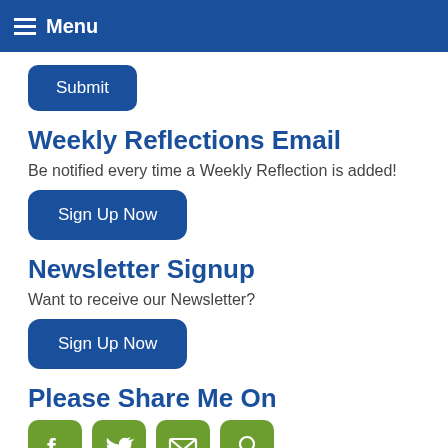Menu
Submit
Weekly Reflections Email
Be notified every time a Weekly Reflection is added!
Sign Up Now
Newsletter Signup
Want to receive our Newsletter?
Sign Up Now
Please Share Me On
[Figure (infographic): Four green social media icon buttons: Facebook, Twitter, Email, Pinterest]